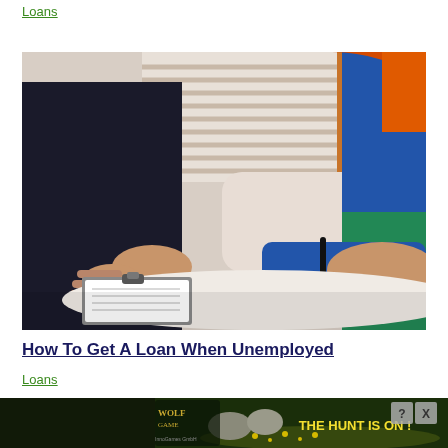Loans
[Figure (photo): Two people at a table signing a loan document. A financial advisor in dark suit gestures toward the paperwork while two clients, one with red/orange hair wearing a blue top and green item, one in blue sweater, sign the document on a white round table. Background shows blinds and a light interior.]
How To Get A Loan When Unemployed
Loans
[Figure (photo): Advertisement banner: Wolf Game - The Hunt Is On! Shows wolves in a forest meadow setting with game logo. Has close button (X) and help button (?).]